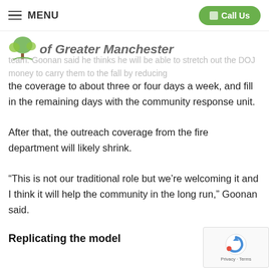MENU | Call Us
[Figure (logo): Tree logo for Greater Manchester organization with site title 'of Greater Manchester']
team. Goonan said he thinks he will be able to stretch out the DOJ money to carry them to the fall by reducing the coverage to about three or four days a week, and fill in the remaining days with the community response unit.
After that, the outreach coverage from the fire department will likely shrink.
“This is not our traditional role but we’re welcoming it and I think it will help the community in the long run,” Goonan said.
Replicating the model